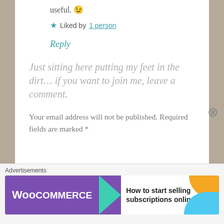useful. 😉
★ Liked by 1 person
Reply
Just sitting here putting my feet in the dirt... if you want to join me, leave a comment.
Your email address will not be published. Required fields are marked *
COMMEN
Advertisements
[Figure (other): WooCommerce advertisement banner: 'How to start selling subscriptions online']